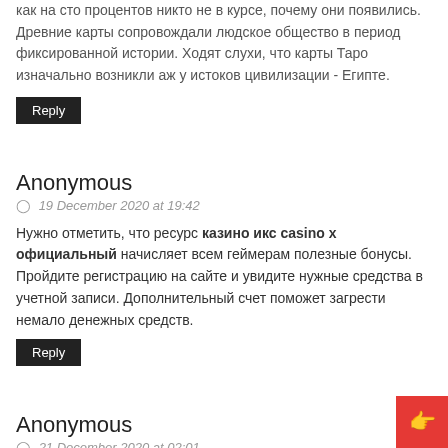как на сто процентов никто не в курсе, почему они появились. Древние карты сопровождали людское общество в период фиксированной истории. Ходят слухи, что карты Таро изначально возникли аж у истоков цивилизации - Египте.
Reply
Anonymous
19 December 2020 at 19:42
Нужно отметить, что ресурс казино икс casino x официальный начисляет всем геймерам полезные бонусы. Пройдите регистрацию на сайте и увидите нужные средства в учетной записи. Дополнительный счет поможет загрести немало денежных средств.
Reply
Anonymous
21 December 2020 at 02:01
Игры в интернете имеют большую доступность во всем мире. Казино x рабочее зеркало на сегодня – воспользуйтесь шансом безопасной игры и выигрывайте огромные бабки. Изменение современ...